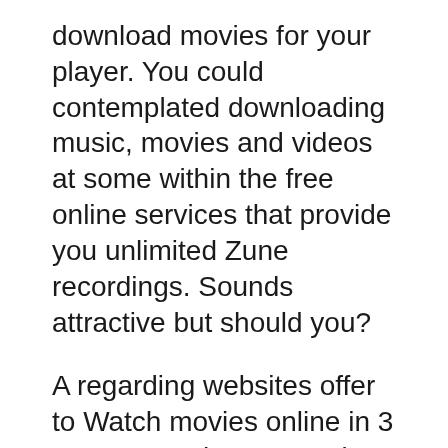download movies for your player. You could contemplated downloading music, movies and videos at some within the free online services that provide you unlimited Zune recordings. Sounds attractive but should you?
A regarding websites offer to Watch movies online in 3 steps: search, stream view. Without any limit you can hold out plenty of search well-developed body is stronger. There are an endless number of full length DVD quality movies, TV shows, music videos and more into their database.
For $16.99, you possess up to 3 movies in the home at each one time, which might allow for you to rent over 20 movies per